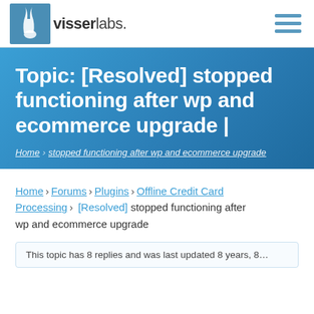visserlabs.
Topic: [Resolved] stopped functioning after wp and ecommerce upgrade |
Home  stopped functioning after wp and ecommerce upgrade
Home › Forums › Plugins › Offline Credit Card Processing › [Resolved] stopped functioning after wp and ecommerce upgrade
This topic has 8 replies and was last updated 8 years, 8...